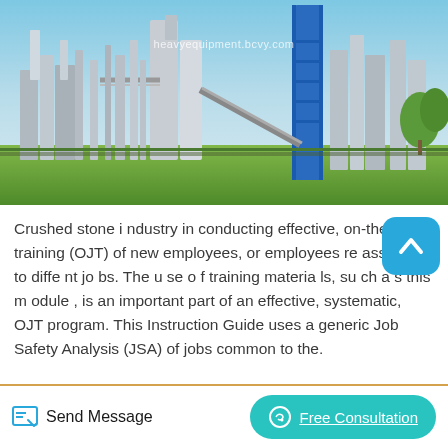[Figure (photo): Industrial factory or cement/crushing plant with tall towers, silos, pipes, and a prominent blue vertical structure against a blue sky with green lawn in foreground. Watermark reads 'heavyequipment.bcvy.com']
Crushed stone i ndustry in conducting effective, on-the-job training (OJT) of new employees, or employees re assi gned to diffe nt jo bs. The u se o f training materia ls, su ch a s this m odule , is an important part of an effective, systematic, OJT program. This Instruction Guide uses a generic Job Safety Analysis (JSA) of jobs common to the.
Send Message   Free Consultation